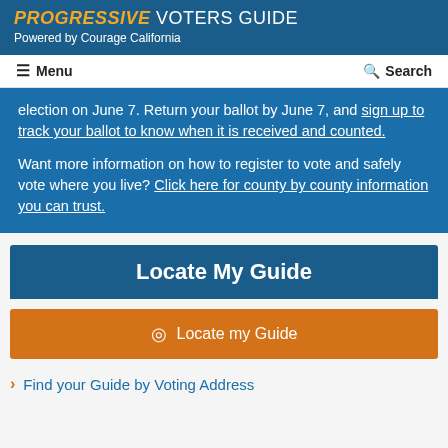PROGRESSIVE VOTERS GUIDE
Powered by Courage California
Menu  Search
election on June 7. Return your ballot by June 7, and sign up to track your ballot to know when it is received and counted.

Want more information on how to register to vote and safely vote where you live? Click here for county by county information you can trust.
Locate My Guide
Locate my Guide
Find your Guide by Voting Address